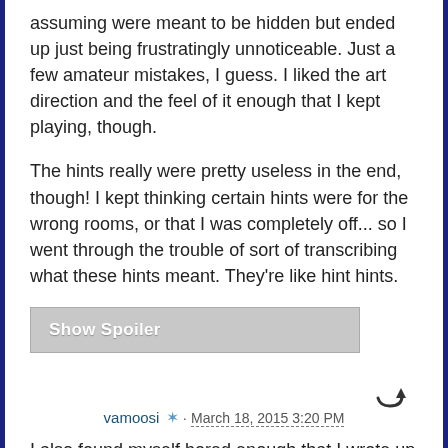assuming were meant to be hidden but ended up just being frustratingly unnoticeable. Just a few amateur mistakes, I guess. I liked the art direction and the feel of it enough that I kept playing, though.
The hints really were pretty useless in the end, though! I kept thinking certain hints were for the wrong rooms, or that I was completely off... so I went through the trouble of sort of transcribing what these hints meant. They're like hint hints.
Show Spoiler
vamoosi · March 18, 2015 3:20 PM
I also found myself bored enough that I wrote up a walkthrough for Sleepwalking. In full paragraph form. Because... reasons?